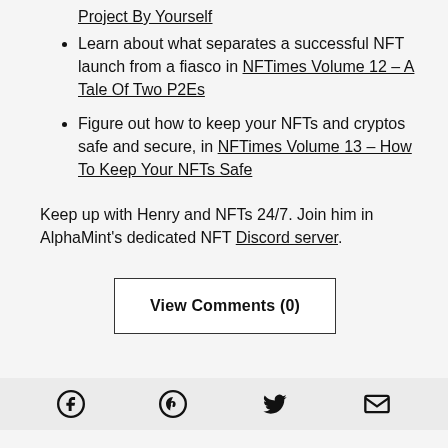Project By Yourself
Learn about what separates a successful NFT launch from a fiasco in NFTimes Volume 12 – A Tale Of Two P2Es
Figure out how to keep your NFTs and cryptos safe and secure, in NFTimes Volume 13 – How To Keep Your NFTs Safe
Keep up with Henry and NFTs 24/7. Join him in AlphaMint's dedicated NFT Discord server.
View Comments (0)